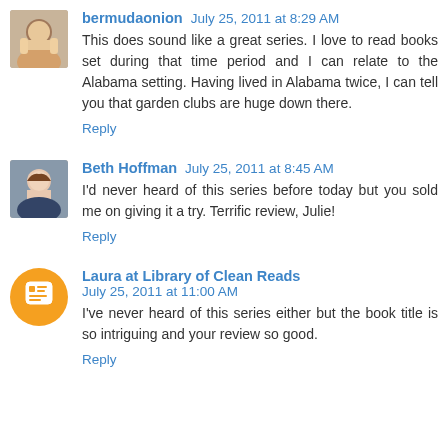bermudaonion July 25, 2011 at 8:29 AM
This does sound like a great series. I love to read books set during that time period and I can relate to the Alabama setting. Having lived in Alabama twice, I can tell you that garden clubs are huge down there.
Reply
Beth Hoffman July 25, 2011 at 8:45 AM
I'd never heard of this series before today but you sold me on giving it a try. Terrific review, Julie!
Reply
Laura at Library of Clean Reads July 25, 2011 at 11:00 AM
I've never heard of this series either but the book title is so intriguing and your review so good.
Reply